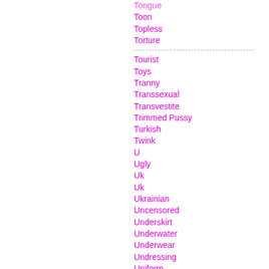Tongue
Toon
Topless
Torture
Tourist
Toys
Tranny
Transsexual
Transvestite
Trimmed Pussy
Turkish
Twink
U
Ugly
Uk
Uk
Ukrainian
Uncensored
Underskirt
Underwater
Underwear
Undressing
Uniform